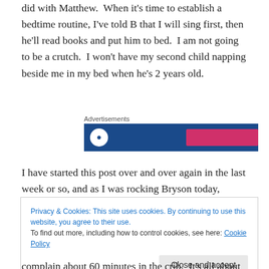did with Matthew. When it's time to establish a bedtime routine, I've told B that I will sing first, then he'll read books and put him to bed. I am not going to be a crutch. I won't have my second child napping beside me in my bed when he's 2 years old.
[Figure (other): Advertisement banner with dark blue background, white circle logo, and pink button on the right]
I have started this post over and over again in the last week or so, and as I was rocking Bryson today, Belle's
Privacy & Cookies: This site uses cookies. By continuing to use this website, you agree to their use. To find out more, including how to control cookies, see here: Cookie Policy
complain about 60 minutes in the crib. It's all about